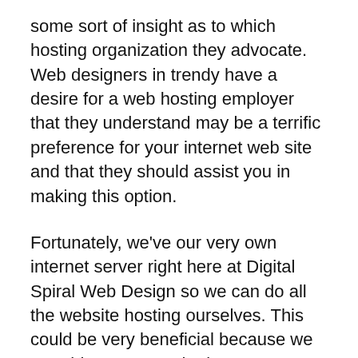some sort of insight as to which hosting organization they advocate. Web designers in trendy have a desire for a web hosting employer that they understand may be a terrific preference for your internet web site and that they should assist you in making this option.
Fortunately, we've our very own internet server right here at Digital Spiral Web Design so we can do all the website hosting ourselves. This could be very beneficial because we are able to ensure the internet server remains up and walking and if there's any preservation that needs to be accomplished on the server, we can do it ourselves in a timely manner. Plus, we are able to usually cut a deal for our net website